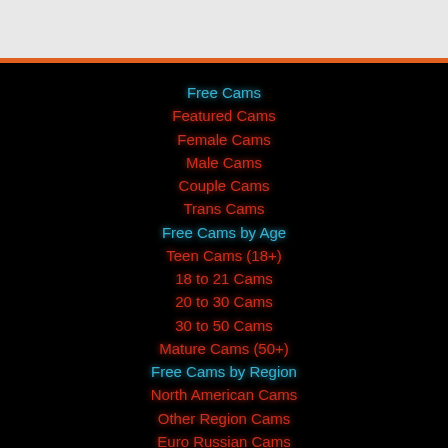Free Cams
Featured Cams
Female Cams
Male Cams
Couple Cams
Trans Cams
Free Cams by Age
Teen Cams (18+)
18 to 21 Cams
20 to 30 Cams
30 to 50 Cams
Mature Cams (50+)
Free Cams by Region
North American Cams
Other Region Cams
Euro Russian Cams
Philippines Cams
Asian Cams